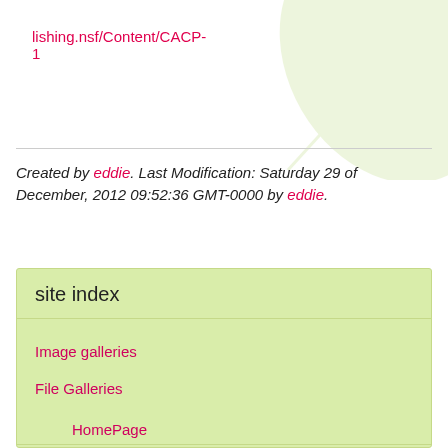lishing.nsf/Content/CACP-1
Created by eddie. Last Modification: Saturday 29 of December, 2012 09:52:36 GMT-0000 by eddie.
site index
Image galleries
File Galleries
HomePage
Flight
gliding
PPC/WPPG
Aerochute